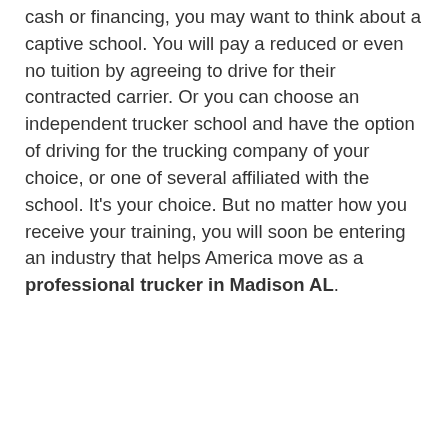cash or financing, you may want to think about a captive school. You will pay a reduced or even no tuition by agreeing to drive for their contracted carrier. Or you can choose an independent trucker school and have the option of driving for the trucking company of your choice, or one of several affiliated with the school. It's your choice. But no matter how you receive your training, you will soon be entering an industry that helps America move as a professional trucker in Madison AL.